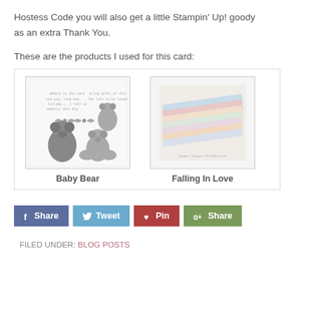Hostess Code you will also get a little Stampin' Up! goody as an extra Thank You.
These are the products I used for this card:
[Figure (illustration): Product showcase box containing two Stampin' Up! products: 'Baby Bear' stamp set showing teddy bear images and text stamps, and 'Falling In Love' designer series paper showing stacked colorful striped papers.]
Share buttons: Share (Facebook), Tweet (Twitter), Pin (Pinterest), Share (Google+)
FILED UNDER: BLOG POSTS